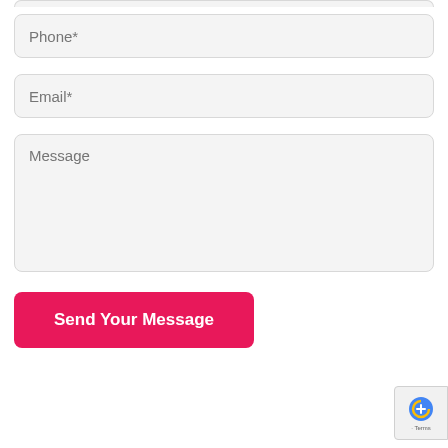[Figure (screenshot): Contact form partial view showing Phone*, Email*, Message textarea fields, a pink Send Your Message button, and a partial reCAPTCHA widget in the bottom right corner.]
Phone*
Email*
Message
Send Your Message